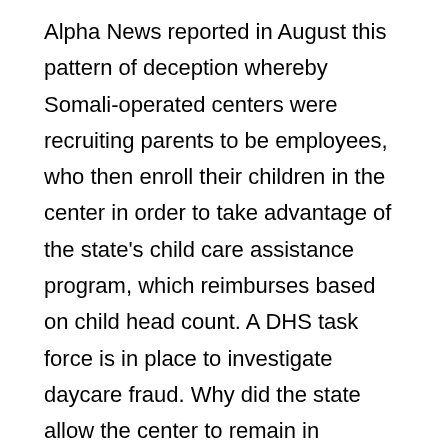Alpha News reported in August this pattern of deception whereby Somali-operated centers were recruiting parents to be employees, who then enroll their children in the center in order to take advantage of the state's child care assistance program, which reimburses based on child head count. A DHS task force is in place to investigate daycare fraud. Why did the state allow the center to remain in operation after the April 2014 citation about the lack of background studies for so many employees? Scott Stillman spent eight years managing the state's digital forensics lab, meaning he mined data from computers and smart phones. Minnesota authorities are currently investigating at least 10 daycare centers for overbilling the state. Politically correct fears of being called racist have allowed a massive daycare fraud scam run by Somali refugees in Minnesota to flourish and balloon out of